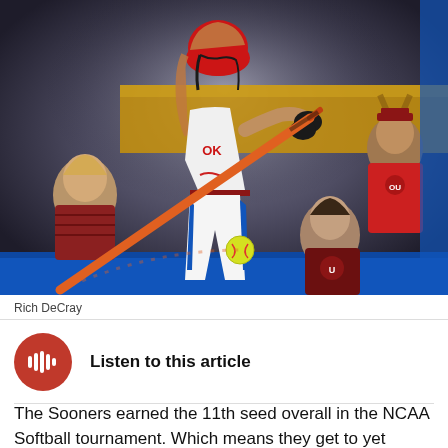[Figure (photo): Oklahoma softball player swinging a bat at a softball during an NCAA game. Player is wearing white Oklahoma uniform with red helmet. Other players and coaches visible in background. Blue outfield wall visible at bottom.]
Rich DeCray
Listen to this article
The Sooners earned the 11th seed overall in the NCAA Softball tournament. Which means they get to yet